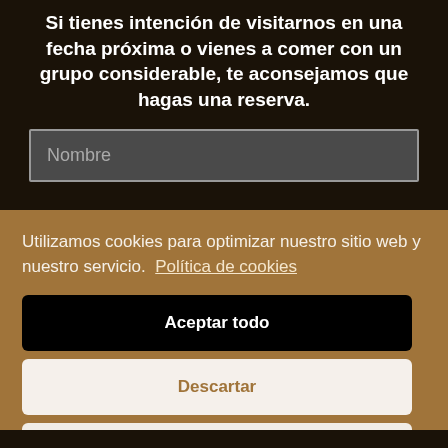Si tienes intención de visitarnos en una fecha próxima o vienes a comer con un grupo considerable, te aconsejamos que hagas una reserva.
[Figure (screenshot): Input field with placeholder text 'Nombre' on dark background]
Utilizamos cookies para optimizar nuestro sitio web y nuestro servicio.  Política de cookies
Aceptar todo
Descartar
Preferencias